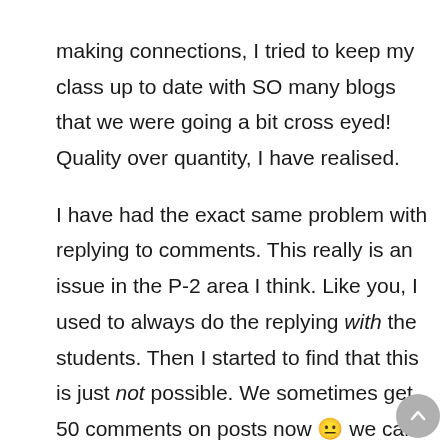making connections, I tried to keep my class up to date with SO many blogs that we were going a bit cross eyed! Quality over quantity, I have realised.

I have had the exact same problem with replying to comments. This really is an issue in the P-2 area I think. Like you, I used to always do the replying with the students. Then I started to find that this is just not possible. We sometimes get 50 comments on posts now 😐 we can't do blogging all day!